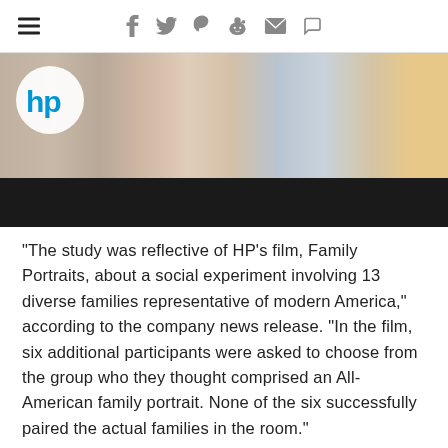≡  f  𝕋  𝗣  𝗿  ✉  💬
[Figure (photo): HP-branded video/image showing people sitting together, with the HP logo in the upper left corner and a black banner at the bottom.]
“The study was reflective of HP’s film, Family Portraits, about a social experiment involving 13 diverse families representative of modern America,” according to the company news release. “In the film, six additional participants were asked to choose from the group who they thought comprised an All-American family portrait. None of the six successfully paired the actual families in the room.”